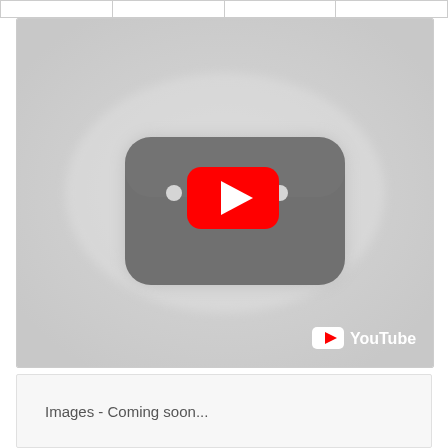|  |
[Figure (screenshot): YouTube video placeholder with grey background, dark grey rounded rectangle in center, and red YouTube play button overlay. YouTube logo visible in bottom right corner.]
Images - Coming soon...